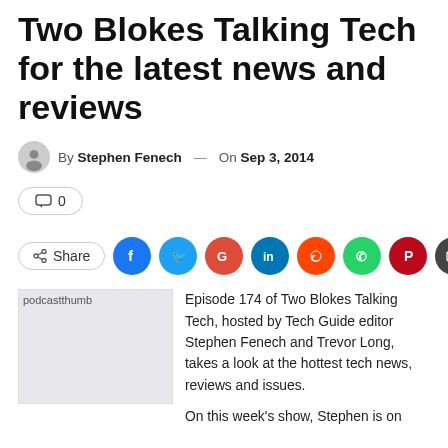Two Blokes Talking Tech for the latest news and reviews
By Stephen Fenech — On Sep 3, 2014
💬 0
Share
[Figure (photo): Podcast thumbnail placeholder image (podcastthumb)]
Episode 174 of Two Blokes Talking Tech, hosted by Tech Guide editor Stephen Fenech and Trevor Long, takes a look at the hottest tech news, reviews and issues.

On this week's show, Stephen is on